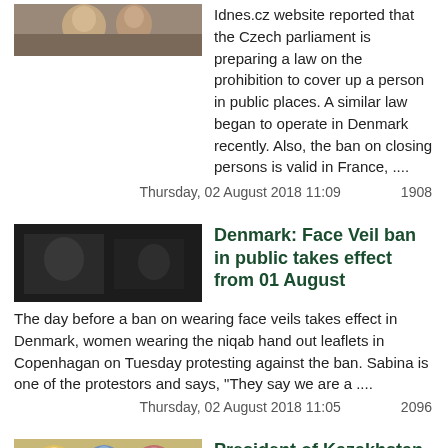[Figure (photo): Small photo thumbnail of people, top left of first article]
Idnes.cz website reported that the Czech parliament is preparing a law on the prohibition to cover up a person in public places. A similar law began to operate in Denmark recently. Also, the ban on closing persons is valid in France, ....
Thursday, 02 August 2018 11:09    1908
[Figure (photo): Dark photo thumbnail related to Denmark face veil ban article]
Denmark: Face Veil ban in public takes effect from 01 August
The day before a ban on wearing face veils takes effect in Denmark, women wearing the niqab hand out leaflets in Copenhagan on Tuesday protesting against the ban. Sabina is one of the protestors and says, "They say we are a ....
Thursday, 02 August 2018 11:05    2096
[Figure (photo): Colorful photo thumbnail of people in traditional/colorful clothing related to Kazakhstan article]
President of Kazakhstan suggesting to ban beards and all-black clothes
President of Kazakhstan Nursultan Nazarbayev during the meeting